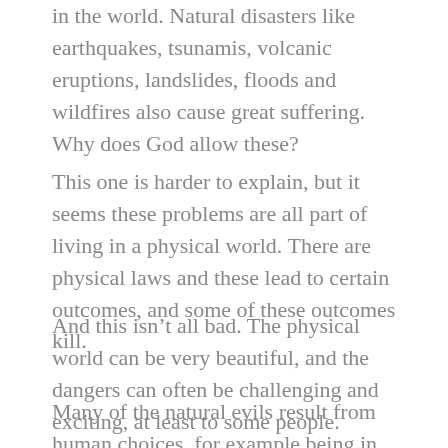in the world. Natural disasters like earthquakes, tsunamis, volcanic eruptions, landslides, floods and wildfires also cause great suffering. Why does God allow these?
This one is harder to explain, but it seems these problems are all part of living in a physical world. There are physical laws and these lead to certain outcomes, and some of these outcomes kill.
And this isn't all bad. The physical world can be very beautiful, and the dangers can often be challenging and exciting, at least to some people.
Many of the natural evils result from human choices, for example being in the wrong place at the wrong